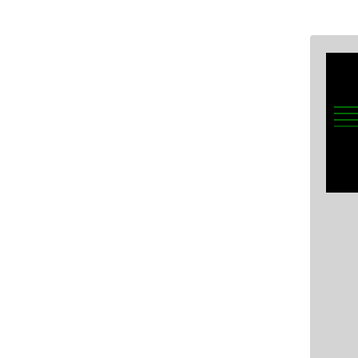[Figure (screenshot): Thumbnail of serial_ter... showing a black terminal window with green text, 570x212, 2014/05/06 19:52, 14.8 KB]
[Figure (screenshot): Thumbnail of serial_ter... showing a white desktop application window with text, 653x374, 2014/05/16 17:26, 75.7 KB]
[Figure (screenshot): Thumbnail of se... (partially visible), partially cropped card on right]
[Figure (screenshot): Thumbnail of serial_ter... showing a white desktop application window with data, 653x377, 2014/05/16 16:54, 44.2 KB]
[Figure (screenshot): Thumbnail of serial_ter... showing a white desktop application window, 554x317, 2014/05/07 20:22, 33.1 KB]
[Figure (screenshot): Thumbnail of te... (partially visible), partially cropped card on right]